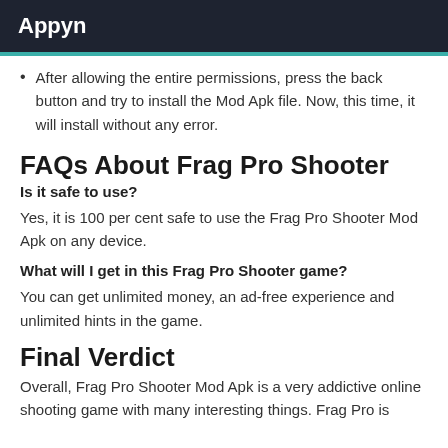Appyn
After allowing the entire permissions, press the back button and try to install the Mod Apk file. Now, this time, it will install without any error.
FAQs About Frag Pro Shooter
Is it safe to use?
Yes, it is 100 per cent safe to use the Frag Pro Shooter Mod Apk on any device.
What will I get in this Frag Pro Shooter game?
You can get unlimited money, an ad-free experience and unlimited hints in the game.
Final Verdict
Overall, Frag Pro Shooter Mod Apk is a very addictive online shooting game with many interesting things. Frag Pro is